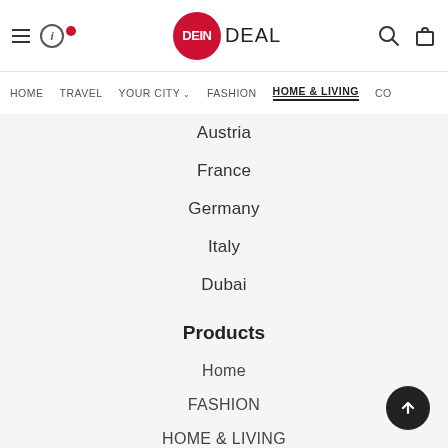DEIN DEAL – HOME | TRAVEL | YOUR CITY | FASHION | HOME & LIVING | CO
Austria
France
Germany
Italy
Dubai
Products
Home
FASHION
HOME & LIVING
COSMETICS
SPORT
KIDS